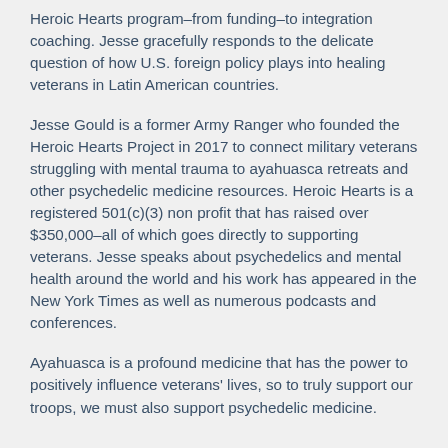Heroic Hearts program–from funding–to integration coaching. Jesse gracefully responds to the delicate question of how U.S. foreign policy plays into healing veterans in Latin American countries.
Jesse Gould is a former Army Ranger who founded the Heroic Hearts Project in 2017 to connect military veterans struggling with mental trauma to ayahuasca retreats and other psychedelic medicine resources. Heroic Hearts is a registered 501(c)(3) non profit that has raised over $350,000–all of which goes directly to supporting veterans. Jesse speaks about psychedelics and mental health around the world and his work has appeared in the New York Times as well as numerous podcasts and conferences.
Ayahuasca is a profound medicine that has the power to positively influence veterans' lives, so to truly support our troops, we must also support psychedelic medicine.